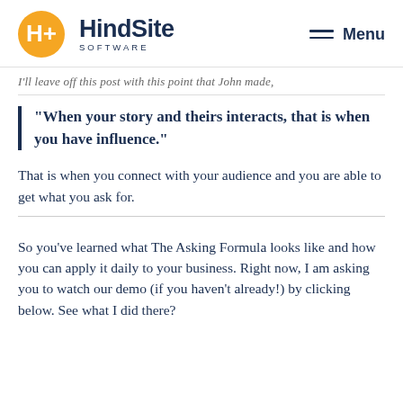[Figure (logo): HindSite Software logo with orange circle containing H+ icon and dark blue text reading HindSite SOFTWARE]
Menu
I'll leave off this post with this point that John made,
“When your story and theirs interacts, that is when you have influence.”
That is when you connect with your audience and you are able to get what you ask for.
So you've learned what The Asking Formula looks like and how you can apply it daily to your business. Right now, I am asking you to watch our demo (if you haven't already!) by clicking below. See what I did there?